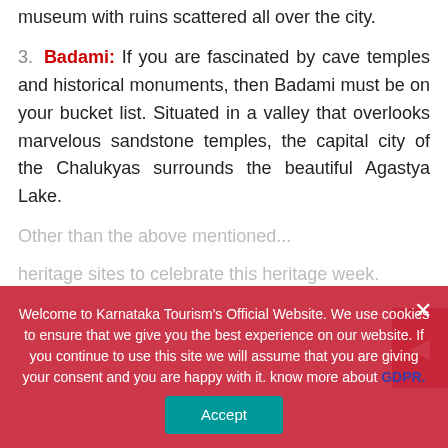museum with ruins scattered all over the city.
3. Badami: If you are fascinated by cave temples and historical monuments, then Badami must be on your bucket list. Situated in a valley that overlooks marvelous sandstone temples, the capital city of the Chalukyas surrounds the beautiful Agastya Lake.
Other than the above mentioned... heritage sites to celebrate this heritage week. To commemorate Heritage Week, visit
Welcome to Karnataka Tourism's Official Website. We use cookies to ensure that we give you the best experience on our website. If you continue to use this site we will assume that you are giving your consent and you are happy with it. know more about GDPR.